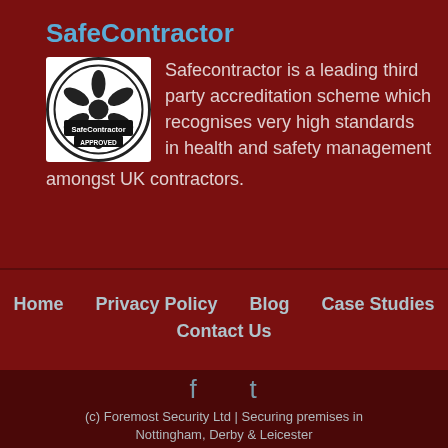SafeContractor
[Figure (logo): SafeContractor Approved circular logo with flower/snowflake emblem]
Safecontractor is a leading third party accreditation scheme which recognises very high standards in health and safety management amongst UK contractors.
Home   Privacy Policy   Blog   Case Studies   Contact Us
(c) Foremost Security Ltd | Securing premises in Nottingham, Derby & Leicester